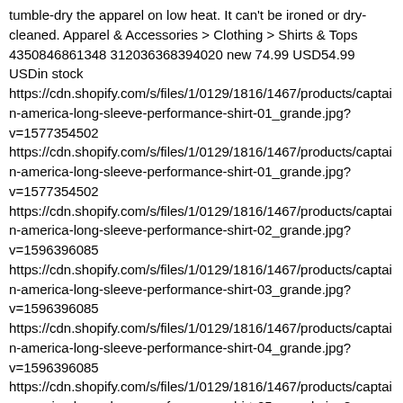tumble-dry the apparel on low heat. It can't be ironed or dry-cleaned. Apparel & Accessories > Clothing > Shirts & Tops 4350846861348 312036368394020 new 74.99 USD54.99 USDin stock https://cdn.shopify.com/s/files/1/0129/1816/1467/products/captain-america-long-sleeve-performance-shirt-01_grande.jpg?v=1577354502 https://cdn.shopify.com/s/files/1/0129/1816/1467/products/captain-america-long-sleeve-performance-shirt-01_grande.jpg?v=1577354502 https://cdn.shopify.com/s/files/1/0129/1816/1467/products/captain-america-long-sleeve-performance-shirt-02_grande.jpg?v=1596396085 https://cdn.shopify.com/s/files/1/0129/1816/1467/products/captain-america-long-sleeve-performance-shirt-03_grande.jpg?v=1596396085 https://cdn.shopify.com/s/files/1/0129/1816/1467/products/captain-america-long-sleeve-performance-shirt-04_grande.jpg?v=1596396085 https://cdn.shopify.com/s/files/1/0129/1816/1467/products/captain-america-long-sleeve-performance-shirt-05_grande.jpg?v=1596396085 https://cdn.shopify.com/s/files/1/0129/1816/1467/products/steve-rogers-t-shirt-front_grande.jpg?v=1596396085 https://cdn.shopify.com/s/files/1/0129/1816/1467/products/captain-america-long-sleeve-performance-shirt-spotlight_grande.jpg?